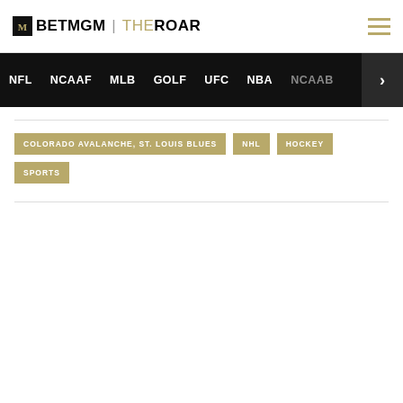BetMGM | The Roar
NFL
NCAAF
MLB
GOLF
UFC
NBA
NCAAB
COLORADO AVALANCHE, ST. LOUIS BLUES
NHL
HOCKEY
SPORTS